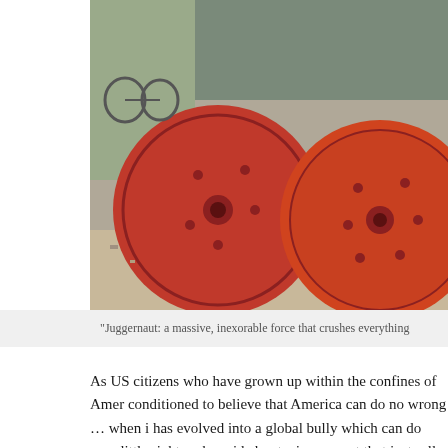[Figure (photo): Two large red industrial wheels/rollers sitting on the ground outdoors, with a motorcycle and vehicle visible in the background.]
"Juggernaut: a massive, inexorable force that crushes everything
As US citizens who have grown up within the confines of Amer conditioned to believe that America can do no wrong … when it has evolved into a global bully which can do very little right ou be said about a juggernaut that just rolls its well oiled military m wants to?!
...